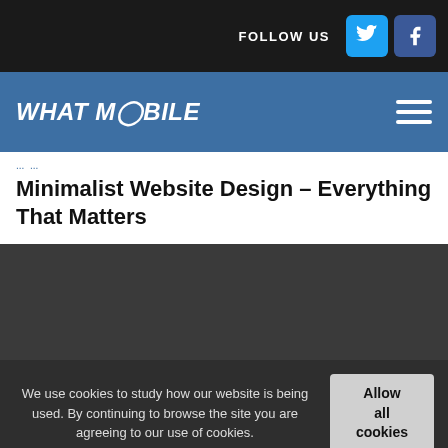FOLLOW US
WHAT MOBILE
Minimalist Website Design – Everything That Matters
[Figure (photo): Dark grey placeholder image area for article featured image]
We use cookies to study how our website is being used. By continuing to browse the site you are agreeing to our use of cookies.